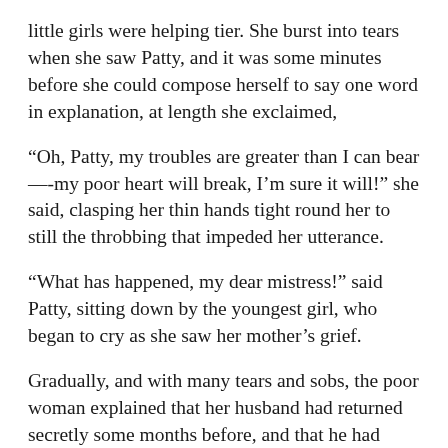little girls were helping tier. She burst into tears when she saw Patty, and it was some minutes before she could compose herself to say one word in explanation, at length she exclaimed,
“Oh, Patty, my troubles are greater than I can bear—-my poor heart will break, I’m sure it will!” she said, clasping her thin hands tight round her to still the throbbing that impeded her utterance.
“What has happened, my dear mistress!” said Patty, sitting down by the youngest girl, who began to cry as she saw her mother’s grief.
Gradually, and with many tears and sobs, the poor woman explained that her husband had returned secretly some months before, and that he had demanded money of her, which she had given him to the full extent, and far beyond her means. At last she would supply him no longer, and he came openly drunk, made a riot, and sold off everything, and